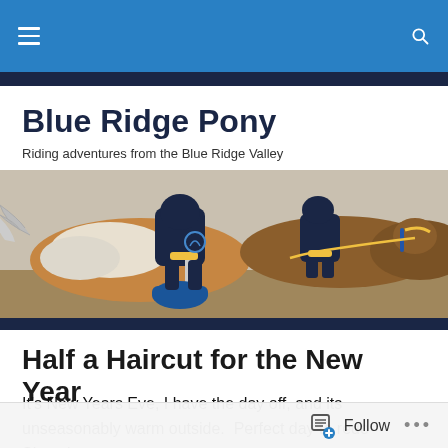Blue Ridge Pony — navigation bar with hamburger menu and search icon
Blue Ridge Pony
Riding adventures from the Blue Ridge Valley
[Figure (photo): A rider on a brown and white pony leaning forward during a polo or pony racing event, with other horses and riders visible in the background. The rider wears a navy blue and yellow uniform.]
Half a Haircut for the New Year
It's New Years Eve, I have the day off, and its unseasonably warm outside.  Perfect day to redo Simon's
Follow  •••